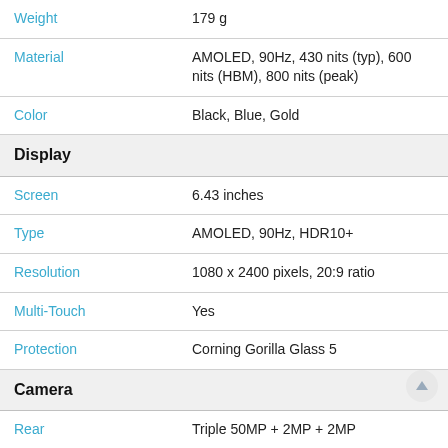| Attribute | Value |
| --- | --- |
| Weight | 179 g |
| Material | AMOLED, 90Hz, 430 nits (typ), 600 nits (HBM), 800 nits (peak) |
| Color | Black, Blue, Gold |
| Display |  |
| Screen | 6.43 inches |
| Type | AMOLED, 90Hz, HDR10+ |
| Resolution | 1080 x 2400 pixels, 20:9 ratio |
| Multi-Touch | Yes |
| Protection | Corning Gorilla Glass 5 |
| Camera |  |
| Rear | Triple 50MP + 2MP + 2MP |
| Selfie | 32 MP, f/2.0, 26mm (wide), 1/2.848 |
| Flash | LED |
| Video | 4K@30fps, 1080p@30/60/120fps; gyro-EIS, |